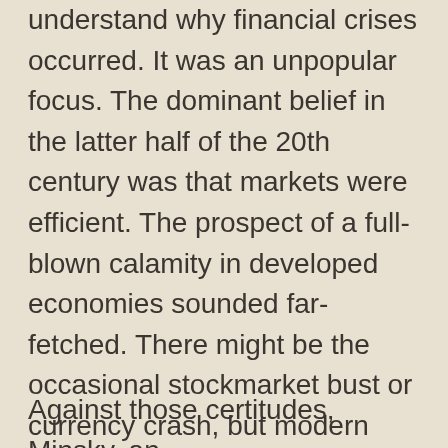understand why financial crises occurred. It was an unpopular focus. The dominant belief in the latter half of the 20th century was that markets were efficient. The prospect of a full-blown calamity in developed economies sounded far-fetched. There might be the occasional stockmarket bust or currency crash, but modern economies had, it seemed, vanquished their worst demons.
Against those certitudes, Minsky, an